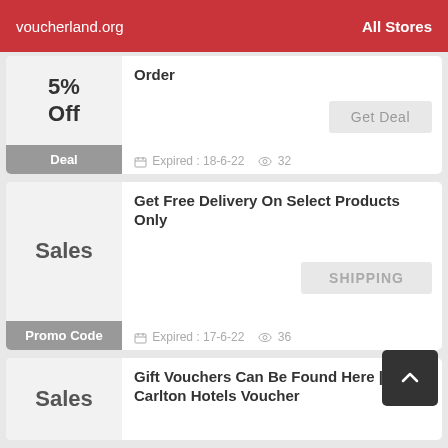voucherland.org   All Stores
5% Off
Deal
Order
Get Deal
Expired : 18-6-22   32
Sales
Promo Code
Get Free Delivery On Select Products Only
SHIPPING
Expired : 17-6-22   36
Sales
Gift Vouchers Can Be Found Here | Carlton Hotels Voucher